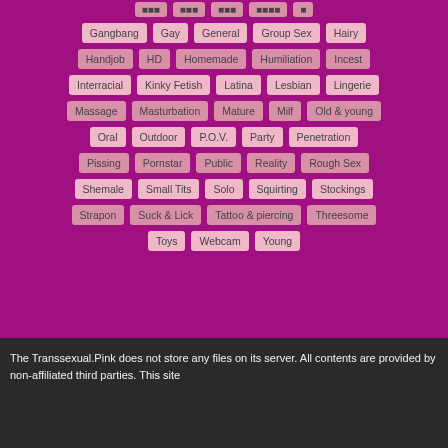Gangbang, Gay, General, Group Sex, Hairy, Handjob, HD, Homemade, Humiliation, Incest, Interracial, Kinky Fetish, Latina, Lesbian, Lingerie, Massage, Masturbation, Mature, Milf, Old & young, Oral, Outdoor, P.O.V., Party, Penetration, Pissing, Pornstar, Public, Reality, Rough Sex, Shemale, Small Tits, Solo, Squirting, Stockings, Strapon, Suck & Lick, Tattoo & piercing, Threesome, Toys, Webcam, Young
The Transsexual.Pink does not store any files on its server. All contents are provided by non-affiliated third parties. This site